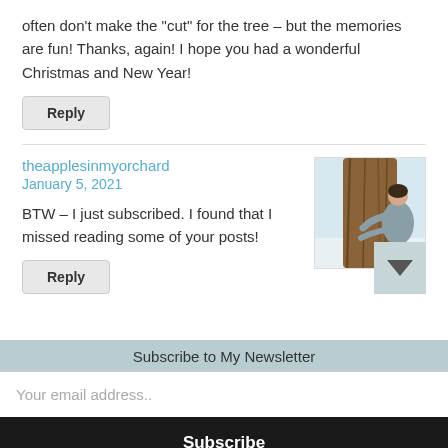often don't make the "cut" for the tree – but the memories are fun! Thanks, again! I hope you had a wonderful Christmas and New Year!
Reply
theapplesinmyorchard
January 5, 2021
[Figure (photo): Woman hugging a large tree in winter, wearing a gray coat and jeans, snow in the background]
BTW – I just subscribed. I found that I missed reading some of your posts!
Reply
Subscribe to My Newsletter
Your email address..
Subscribe